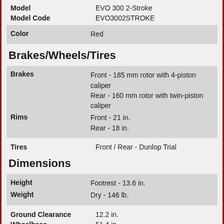| Attribute | Value |
| --- | --- |
| Model | EVO 300 2-Stroke |
| Model Code | EVO3002STROKE |
| Color | Red |
| Brakes | Front - 185 mm rotor with 4-piston caliper
Rear - 160 mm rotor with twin-piston caliper |
| Rims | Front - 21 in.
Rear - 18 in. |
| Tires | Front / Rear - Dunlop Trial |
| Height | Footrest - 13.6 in. |
| Weight | Dry - 146 lb. |
| Ground Clearance | 12.2 in. |
| Wheelbase | 51.4 in. |
Brakes/Wheels/Tires
Dimensions